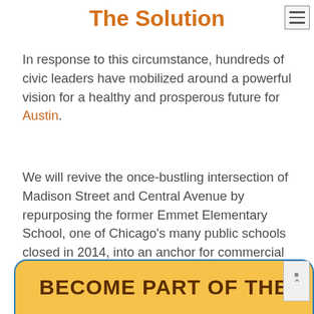The Solution
In response to this circumstance, hundreds of civic leaders have mobilized around a powerful vision for a healthy and prosperous future for Austin.
We will revive the once-bustling intersection of Madison Street and Central Avenue by repurposing the former Emmet Elementary School, one of Chicago’s many public schools closed in 2014, into an anchor for commercial revitalization and a destination for top-notch workforce training.
BECOME PART OF THE